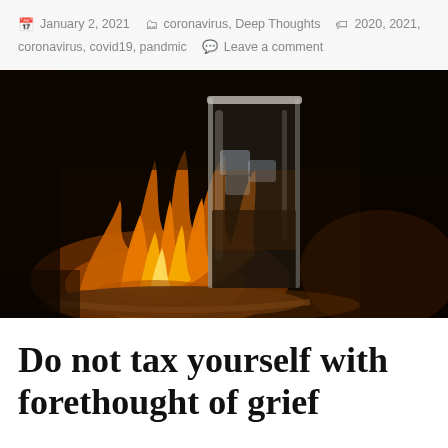January 2, 2021  coronavirus, Deep Thoughts  2020, 2021, coronavirus, covid19, pandmic  Leave a comment
[Figure (photo): A tall glass with ice and dark liquid in front of a campfire with orange-yellow flames, set against a dark background with a clay bowl/pit visible]
Do not tax yourself with forethought of grief